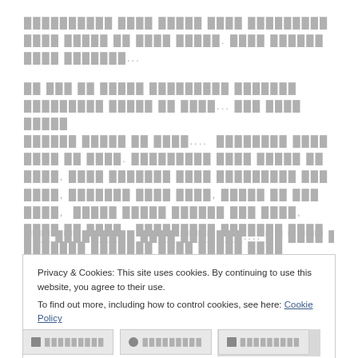[redacted text block 1 - non-Latin script, approximately 2 lines]
[redacted text block 2 - non-Latin script, approximately 7 lines]
[redacted text block 3 - non-Latin script, approximately 1 line]
Privacy & Cookies: This site uses cookies. By continuing to use this website, you agree to their use.
To find out more, including how to control cookies, see here: Cookie Policy
[Close and accept button]
[share buttons row]